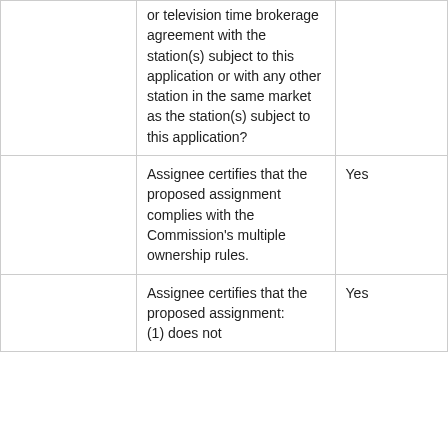|  |  |  |
| --- | --- | --- |
|  | or television time brokerage agreement with the station(s) subject to this application or with any other station in the same market as the station(s) subject to this application? |  |
|  | Assignee certifies that the proposed assignment complies with the Commission's multiple ownership rules. | Yes |
|  | Assignee certifies that the proposed assignment: (1) does not... | Yes |